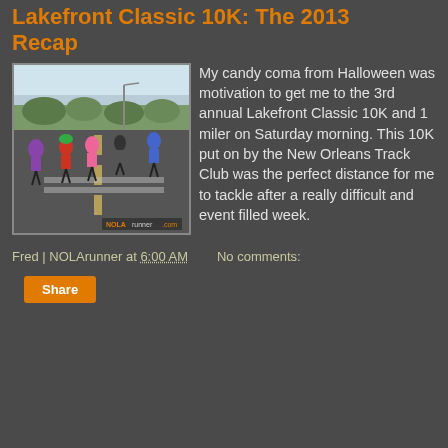Lakefront Classic 10K: The 2013 Recap
[Figure (photo): Runners on a lakefront road during the Lakefront Classic 10K race, photographed from behind. Multiple runners visible in colorful running attire on a wide road with trees and sky in background. NOLArunner.com watermark visible.]
My candy coma from Halloween was motivation to get me to the 3rd annual Lakefront Classic 10K and 1 miler on Saturday morning. This 10K put on by the New Orleans Track Club was the perfect distance for me to tackle after a really difficult and event filled week.
Fred | NOLArunner at 6:00 AM   No comments:
Share